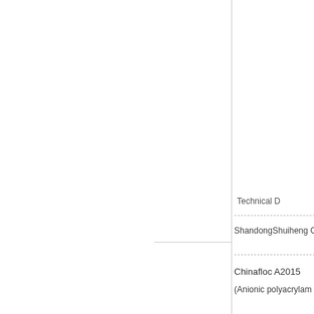Technical D
ShandongShuiheng C
Chinafloc A2015
(Anionic polyacrylam